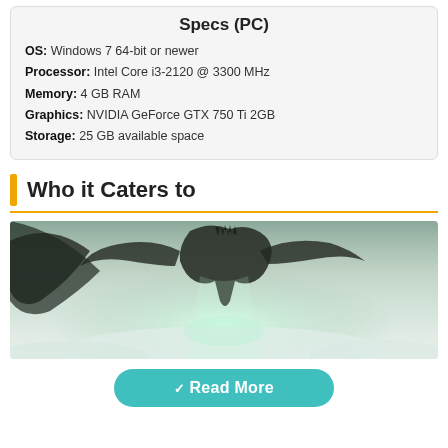Specs (PC)
OS: Windows 7 64-bit or newer
Processor: Intel Core i3-2120 @ 3300 MHz
Memory: 4 GB RAM
Graphics: NVIDIA GeForce GTX 750 Ti 2GB
Storage: 25 GB available space
Who it Caters to
[Figure (photo): Fantasy game screenshot showing a large winged creature or dragon in a misty, pale green-grey sky environment with dramatic lighting]
Read More